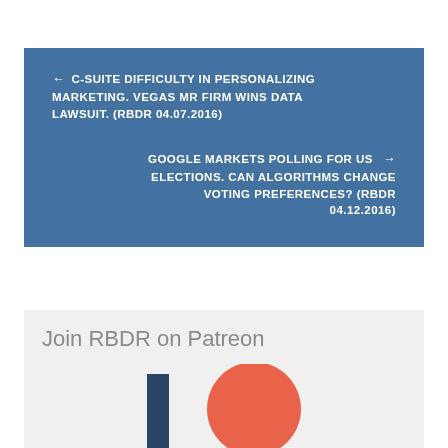← C-SUITE DIFFICULTY IN PERSONALIZING MARKETING. VEGAS MR FIRM WINS DATA LAWSUIT. (RBDR 04.07.2016)
GOOGLE MARKETS POLLING FOR US ELECTIONS. CAN ALGORITHMS CHANGE VOTING PREFERENCES? (RBDR 04.12.2016) →
Join RBDR on Patreon